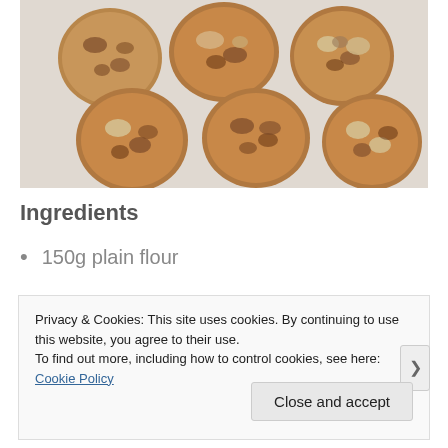[Figure (photo): Six chocolate chip cookies arranged in two rows of three on white parchment paper, viewed from above.]
Ingredients
150g plain flour
Privacy & Cookies: This site uses cookies. By continuing to use this website, you agree to their use.
To find out more, including how to control cookies, see here: Cookie Policy